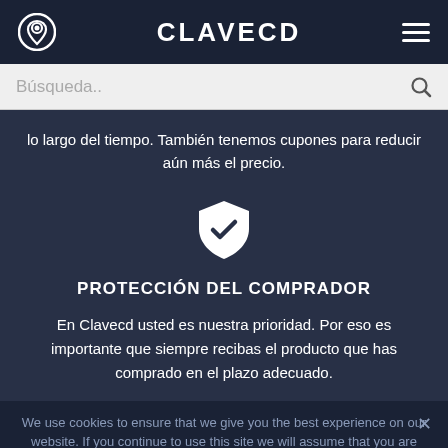CLAVECD
Búsqueda..
lo largo del tiempo. También tenemos cupones para reducir aún más el precio.
[Figure (illustration): White shield icon with a checkmark inside, on dark blue background]
PROTECCIÓN DEL COMPRADOR
En Clavecd usted es nuestra prioridad. Por eso es importante que siempre recibas el producto que has comprado en el plazo adecuado.
We use cookies to ensure that we give you the best experience on our website. If you continue to use this site we will assume that you are happy with it.